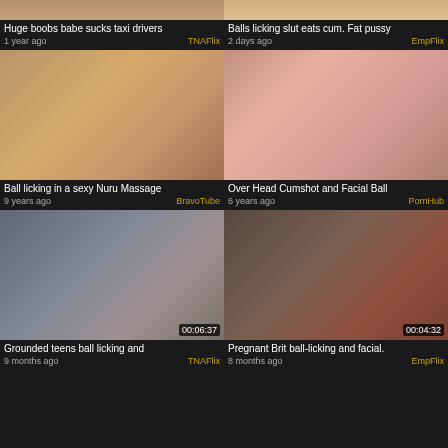[Figure (screenshot): Video thumbnail - partial top strip cut off, left]
Huge boobs babe sucks taxi drivers
1 year ago    TNAFlix
[Figure (screenshot): Video thumbnail - partial top strip cut off, right]
Balls licking slut eats cum. Fat pussy
2 days ago    EmpFlix
[Figure (screenshot): Video thumbnail - Ball licking in a sexy Nuru Massage]
Ball licking in a sexy Nuru Massage
9 years ago    BravoTube
[Figure (screenshot): Video thumbnail - Over Head Cumshot and Facial Ball]
Over Head Cumshot and Facial Ball
6 years ago    PornHub
[Figure (screenshot): Video thumbnail 00:06:37 - Grounded teens ball licking and]
Grounded teens ball licking and
9 months ago    TNAFlix
[Figure (screenshot): Video thumbnail 00:04:32 - Pregnant Brit ball-licking and facial]
Pregnant Brit ball-licking and facial.
8 months ago    EmpFlix